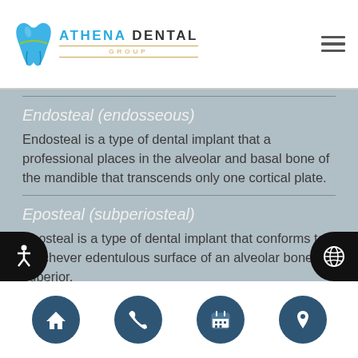[Figure (logo): Athena Dental Group logo with tooth icon in blue/green and gold GROUP text]
Endosteal (endosseous)
Endosteal is a type of dental implant that a professional places in the alveolar and basal bone of the mandible that transcends only one cortical plate.
Eposteal (subperiosteal)
Eposteal is a type of dental implant that conforms to whichever edentulous surface of an alveolar bone is superior.
[Figure (screenshot): Footer navigation bar with home, phone, calendar, and location icons on dark teal buttons]